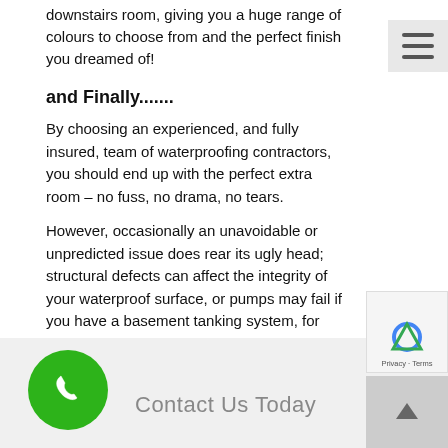downstairs room, giving you a huge range of colours to choose from and the perfect finish you dreamed of!
and Finally.......
By choosing an experienced, and fully insured, team of waterproofing contractors, you should end up with the perfect extra room – no fuss, no drama, no tears.
However, occasionally an unavoidable or unpredicted issue does rear its ugly head; structural defects can affect the integrity of your waterproof surface, or pumps may fail if you have a basement tanking system, for example.
Contact our team immediately in this unlikely event, and we will rectify it and any resulting damage as soon as possible. Call Us Today 0207 127 6886
[Figure (other): Footer bar with green phone icon circle, 'Contact Us Today' text in grey, reCAPTCHA badge, and scroll-up arrow button]